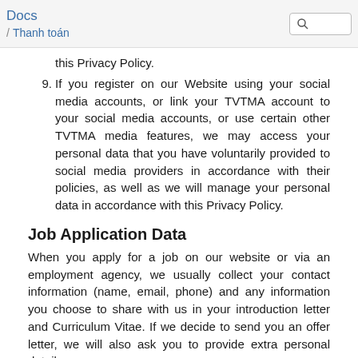Docs / Thanh toán
this Privacy Policy.
9. If you register on our Website using your social media accounts, or link your TVTMA account to your social media accounts, or use certain other TVTMA media features, we may access your personal data that you have voluntarily provided to social media providers in accordance with their policies, as well as we will manage your personal data in accordance with this Privacy Policy.
Job Application Data
When you apply for a job on our website or via an employment agency, we usually collect your contact information (name, email, phone) and any information you choose to share with us in your introduction letter and Curriculum Vitae. If we decide to send you an offer letter, we will also ask you to provide extra personal details as